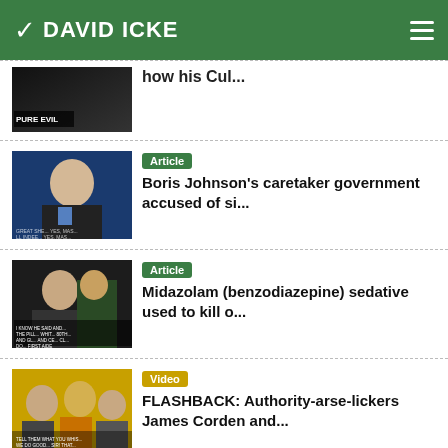DAVID ICKE
[Figure (screenshot): Thumbnail image with 'PURE EVIL' label overlay]
how his Cul...
[Figure (photo): Boris Johnson looking upward, blue background]
Article
Boris Johnson's caretaker government accused of si...
[Figure (photo): Man in dark clothing with text overlay]
Article
Midazolam (benzodiazepine) sedative used to kill o...
[Figure (photo): Group of people smiling, gold/yellow background]
Video
FLASHBACK: Authority-arse-lickers James Corden and...
[Figure (photo): Man in military green, Ukraine-related text overlay]
Article
German Lawmakers Break Ranks, Demand Halt To Weapo...